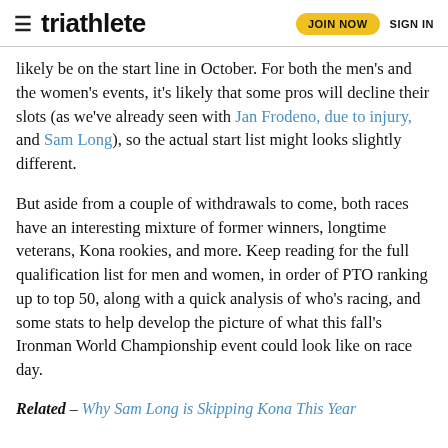triathlete | JOIN NOW | SIGN IN
likely be on the start line in October. For both the men's and the women's events, it's likely that some pros will decline their slots (as we've already seen with Jan Frodeno, due to injury, and Sam Long), so the actual start list might looks slightly different.
But aside from a couple of withdrawals to come, both races have an interesting mixture of former winners, longtime veterans, Kona rookies, and more. Keep reading for the full qualification list for men and women, in order of PTO ranking up to top 50, along with a quick analysis of who's racing, and some stats to help develop the picture of what this fall's Ironman World Championship event could look like on race day.
Related – Why Sam Long is Skipping Kona This Year